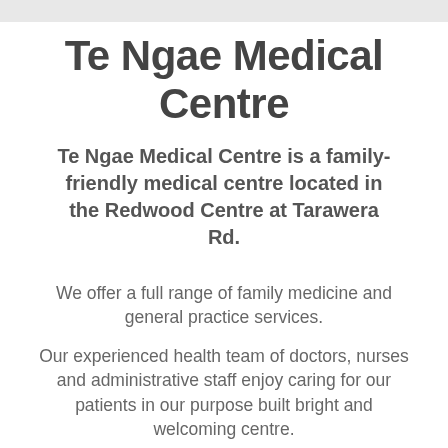Te Ngae Medical Centre
Te Ngae Medical Centre is a family-friendly medical centre located in the Redwood Centre at Tarawera Rd.
We offer a full range of family medicine and general practice services.
Our experienced health team of doctors, nurses and administrative staff enjoy caring for our patients in our purpose built bright and welcoming centre.